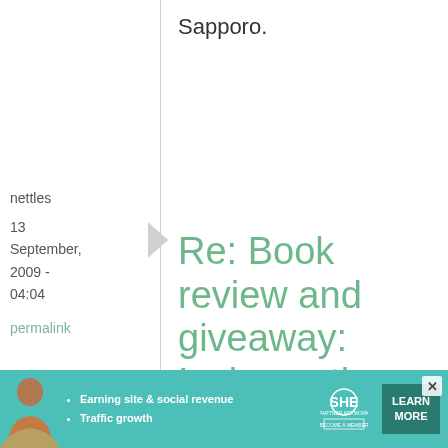Sapporo.
nettles
13 September, 2009 - 04:04
permalink
Re: Book review and giveaway: Izakaya, the Japanese Pub ...
There are quite a few
tapas and izakaya-
[Figure (infographic): Advertisement banner for SHE Partner Network: woman photo, bullet points 'Earning site & social revenue', 'Traffic growth', SHE logo, 'LEARN MORE' button, 'BECOME A MEMBER' badge]